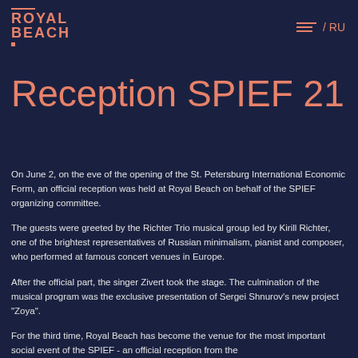ROYAL BEACH / RU
Reception SPIEF 21
On June 2, on the eve of the opening of the St. Petersburg International Economic Form, an official reception was held at Royal Beach on behalf of the SPIEF organizing committee.
The guests were greeted by the Richter Trio musical group led by Kirill Richter, one of the brightest representatives of Russian minimalism, pianist and composer, who performed at famous concert venues in Europe.
After the official part, the singer Zivert took the stage. The culmination of the musical program was the exclusive presentation of Sergei Shnurov's new project "Zoya".
For the third time, Royal Beach has become the venue for the most important social event of the SPIEF - an official reception from the